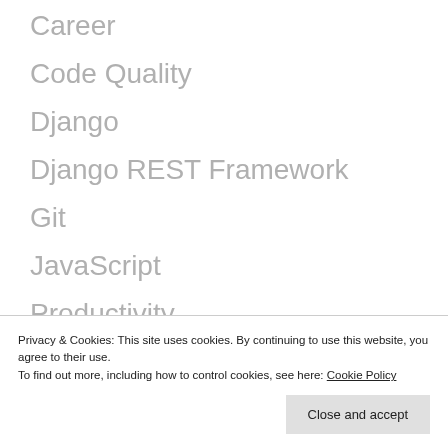Career
Code Quality
Django
Django REST Framework
Git
JavaScript
Productivity
Python
Security
Privacy & Cookies: This site uses cookies. By continuing to use this website, you agree to their use.
To find out more, including how to control cookies, see here: Cookie Policy